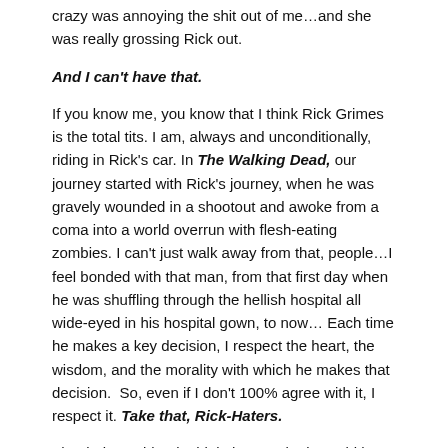crazy was annoying the shit out of me…and she was really grossing Rick out.
And I can't have that.
If you know me, you know that I think Rick Grimes is the total tits. I am, always and unconditionally, riding in Rick's car. In The Walking Dead, our journey started with Rick's journey, when he was gravely wounded in a shootout and awoke from a coma into a world overrun with flesh-eating zombies. I can't just walk away from that, people…I feel bonded with that man, from that first day when he was shuffling through the hellish hospital all wide-eyed in his hospital gown, to now… Each time he makes a key decision, I respect the heart, the wisdom, and the morality with which he makes that decision. So, even if I don't 100% agree with it, I respect it. Take that, Rick-Haters.
That being said, I do think that maybe it would have been better for Rick to not take the full burden of the Carol decision upon himself. I do think it would have been better